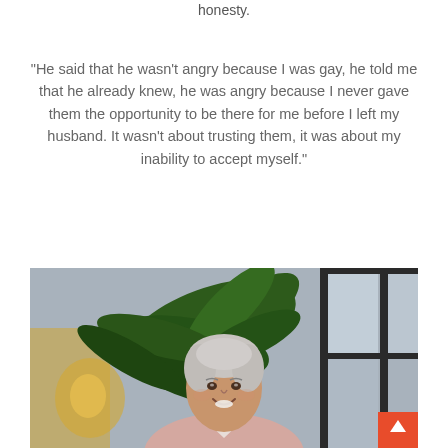honesty.
"He said that he wasn't angry because I was gay, he told me that he already knew, he was angry because I never gave them the opportunity to be there for me before I left my husband. It wasn't about trusting them, it was about my inability to accept myself."
[Figure (photo): A smiling woman with short white/grey hair wearing a light pink blouse, seated in front of a large indoor plant (palm-like), in a modern office or indoor setting with large windows. A red scroll-to-top button is visible in the bottom right corner.]